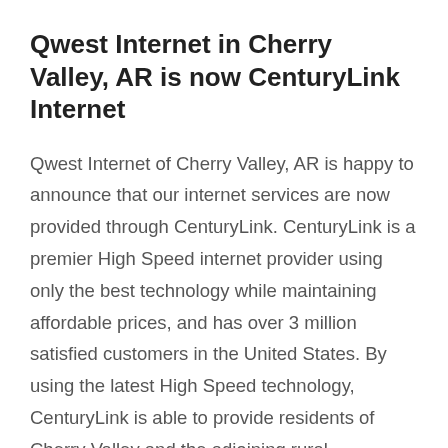Qwest Internet in Cherry Valley, AR is now CenturyLink Internet
Qwest Internet of Cherry Valley, AR is happy to announce that our internet services are now provided through CenturyLink. CenturyLink is a premier High Speed internet provider using only the best technology while maintaining affordable prices, and has over 3 million satisfied customers in the United States. By using the latest High Speed technology, CenturyLink is able to provide residents of Cherry Valley and the adjoining rural communities with reliable, lightning fast high speed internet. Never again will you have to endure slow connectivity or annoying dial-up. CenturyLink has many internet options to choose from, whether you are an